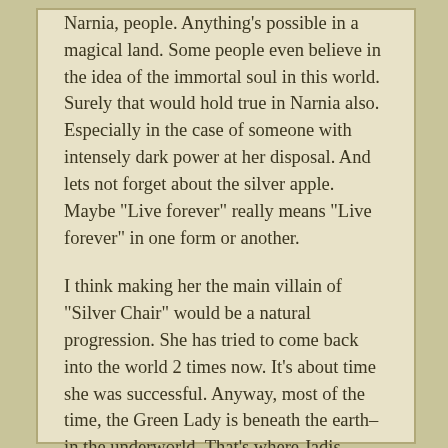Narnia, people. Anything's possible in a magical land. Some people even believe in the idea of the immortal soul in this world. Surely that would hold true in Narnia also. Especially in the case of someone with intensely dark power at her disposal. And lets not forget about the silver apple. Maybe "Live forever" really means "Live forever" in one form or another.
I think making her the main villain of "Silver Chair" would be a natural progression. She has tried to come back into the world 2 times now. It's about time she was successful. Anyway, most of the time, the Green Lady is beneath the earth–in the underworld–That's where Jadis should be, right?